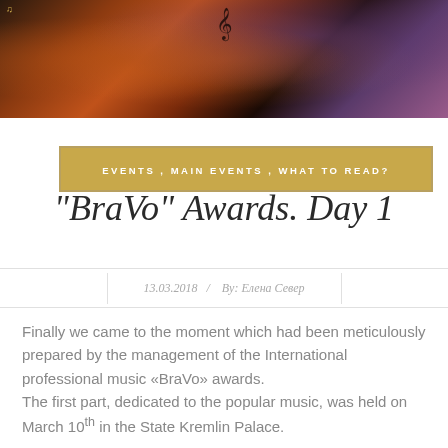[Figure (photo): Hero image showing performers at the BraVo awards ceremony with stage lighting, sequined costumes, and warm reddish-orange colors with purple tones]
EVENTS , MAIN EVENTS , WHAT TO READ?
“BraVo” Awards. Day 1
13.03.2018  /  By: Елена Север
Finally we came to the moment which had been meticulously prepared by the management of the International professional music «BraVo» awards.
The first part, dedicated to the popular music, was held on March 10th in the State Kremlin Palace.